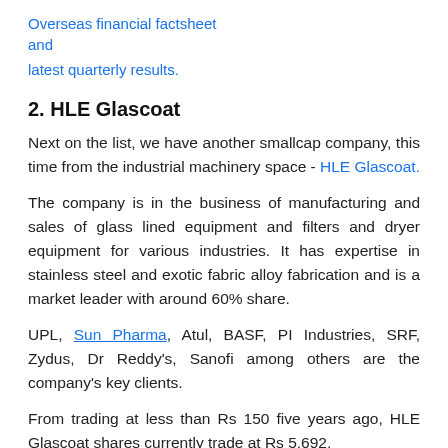Overseas financial factsheet and latest quarterly results.
2. HLE Glascoat
Next on the list, we have another smallcap company, this time from the industrial machinery space - HLE Glascoat.
The company is in the business of manufacturing and sales of glass lined equipment and filters and dryer equipment for various industries. It has expertise in stainless steel and exotic fabric alloy fabrication and is a market leader with around 60% share.
UPL, Sun Pharma, Atul, BASF, PI Industries, SRF, Zydus, Dr Reddy's, Sanofi among others are the company's key clients.
From trading at less than Rs 150 five years ago, HLE Glascoat shares currently trade at Rs 5,692.